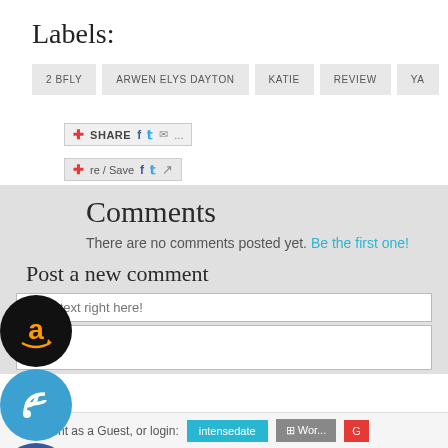Labels:
2 BFLY
ARWEN ELYS DAYTON
KATIE
REVIEW
YA
[Figure (screenshot): Share toolbar with Facebook, Twitter, Email icons]
[Figure (screenshot): Share/Save toolbar with Facebook, Twitter, share icons]
Comments
There are no comments posted yet. Be the first one!
Post a new comment
Enter text right here!
Comment as a Guest, or login:
[Figure (logo): Social media icons: Amazon, RSS, Facebook, Goodreads, Email]